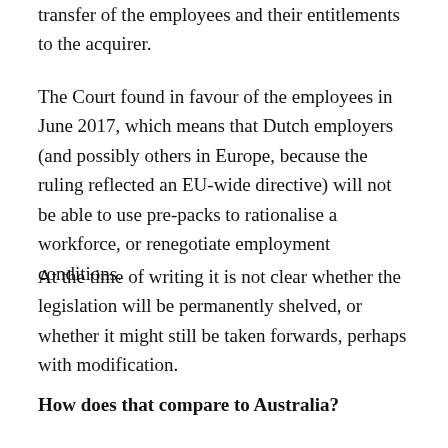transfer of the employees and their entitlements to the acquirer.
The Court found in favour of the employees in June 2017, which means that Dutch employers (and possibly others in Europe, because the ruling reflected an EU-wide directive) will not be able to use pre-packs to rationalise a workforce, or renegotiate employment conditions.
At the time of writing it is not clear whether the legislation will be permanently shelved, or whether it might still be taken forwards, perhaps with modification.
How does that compare to Australia?
...